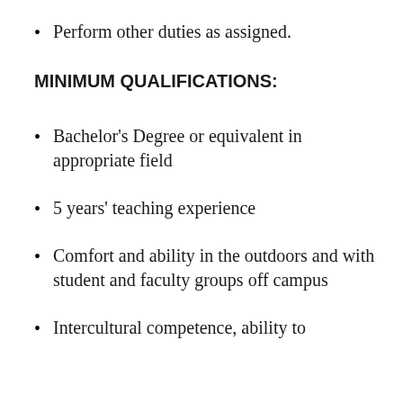Perform other duties as assigned.
MINIMUM QUALIFICATIONS:
Bachelor's Degree or equivalent in appropriate field
5 years' teaching experience
Comfort and ability in the outdoors and with student and faculty groups off campus
Intercultural competence, ability to